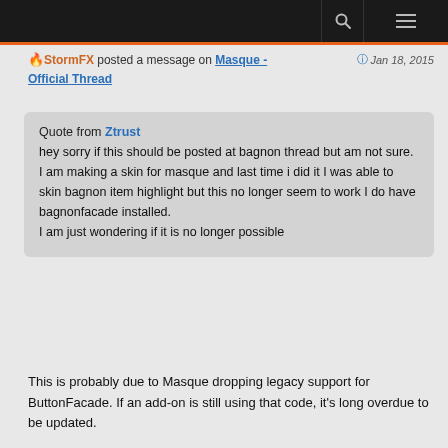🔥 StormFX posted a message on Masque - Official Thread · Jan 18, 2015
Quote from Ztrust
hey sorry if this should be posted at bagnon thread but am not sure.
I am making a skin for masque and last time i did it I was able to skin bagnon item highlight but this no longer seem to work I do have bagnonfacade installed.
I am just wondering if it is no longer possible
This is probably due to Masque dropping legacy support for ButtonFacade. If an add-on is still using that code, it's long overdue to be updated.